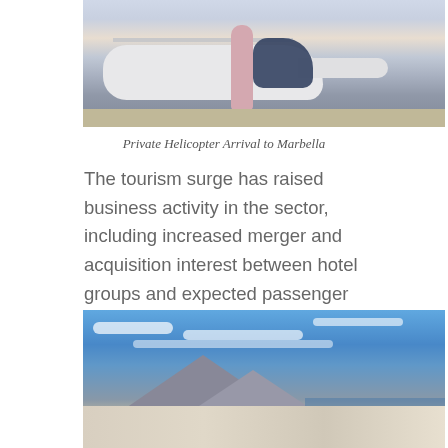[Figure (photo): Woman stepping out of a private helicopter on a tarmac, wearing a light pink dress and carrying a handbag]
Private Helicopter Arrival to Marbella
The tourism surge has raised business activity in the sector, including increased merger and acquisition interest between hotel groups and expected passenger records at Spanish airports.
[Figure (photo): Scenic coastal view of a Spanish resort town (likely Tenerife or Marbella area) with mountains in the background, white buildings along the shore, and a blue sky with scattered clouds]